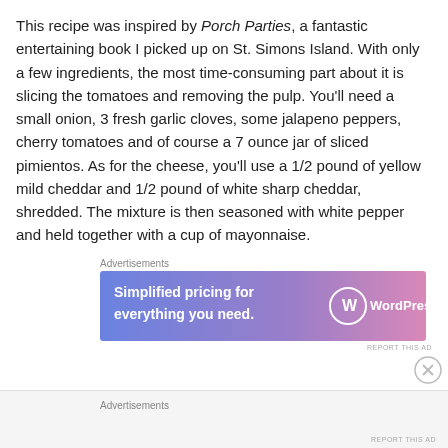This recipe was inspired by Porch Parties, a fantastic entertaining book I picked up on St. Simons Island. With only a few ingredients, the most time-consuming part about it is slicing the tomatoes and removing the pulp. You'll need a small onion, 3 fresh garlic cloves, some jalapeno peppers, cherry tomatoes and of course a 7 ounce jar of sliced pimientos. As for the cheese, you'll use a 1/2 pound of yellow mild cheddar and 1/2 pound of white sharp cheddar, shredded. The mixture is then seasoned with white pepper and held together with a cup of mayonnaise.
Advertisements
[Figure (other): WordPress.com advertisement banner: 'Simplified pricing for everything you need.' with WordPress.com logo on a blue-to-pink gradient background.]
Advertisements